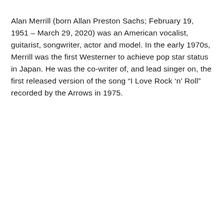Alan Merrill (born Allan Preston Sachs; February 19, 1951 – March 29, 2020) was an American vocalist, guitarist, songwriter, actor and model. In the early 1970s, Merrill was the first Westerner to achieve pop star status in Japan. He was the co-writer of, and lead singer on, the first released version of the song “I Love Rock ‘n’ Roll” recorded by the Arrows in 1975.